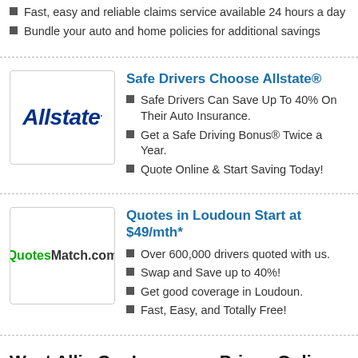Fast, easy and reliable claims service available 24 hours a day
Bundle your auto and home policies for additional savings
[Figure (logo): Allstate logo in dark blue italic bold text]
Safe Drivers Choose Allstate®
Safe Drivers Can Save Up To 40% On Their Auto Insurance.
Get a Safe Driving Bonus® Twice a Year.
Quote Online & Start Saving Today!
[Figure (logo): QuotesMatch.com logo with Quotes in green and Match.com in dark text]
Quotes in Loudoun Start at $49/mth*
Over 600,000 drivers quoted with us.
Swap and Save up to 40%!
Get good coverage in Loudoun.
Fast, Easy, and Totally Free!
West Allis Car Insurance Prices Online